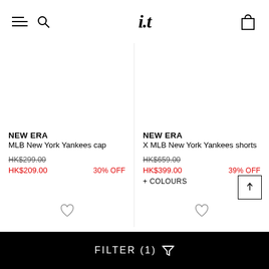i.t — navigation header with hamburger menu, search, logo, and cart
NEW ERA
MLB New York Yankees cap
HK$299.00
HK$209.00  30% OFF
NEW ERA
X MLB New York Yankees shorts
HK$659.00
HK$399.00  39% OFF
+ COLOURS
FILTER (1)